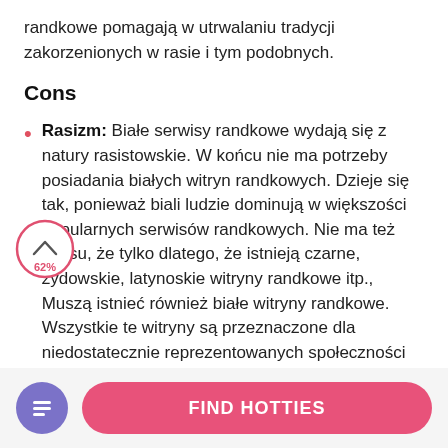randkowe pomagają w utrwalaniu tradycji zakorzenionych w rasie i tym podobnych.
Cons
Rasizm: Białe serwisy randkowe wydają się z natury rasistowskie. W końcu nie ma potrzeby posiadania białych witryn randkowych. Dzieje się tak, ponieważ biali ludzie dominują w większości popularnych serwisów randkowych. Nie ma też sensu, że tylko dlatego, że istnieją czarne, żydowskie, latynoskie witryny randkowe itp., Muszą istnieć również białe witryny randkowe. Wszystkie te witryny są przeznaczone dla niedostatecznie reprezentowanych społeczności mniejszościowych, którymi z pewnością
[Figure (infographic): Circular scroll progress indicator showing 62% with an upward chevron arrow inside]
FIND HOTTIES